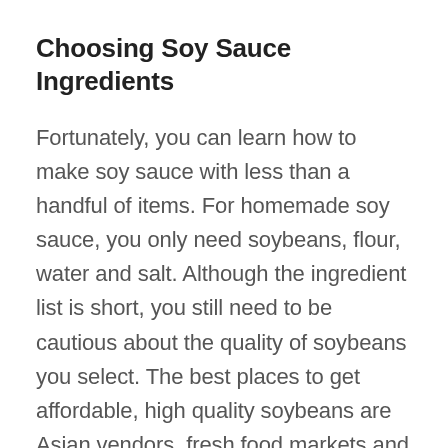Choosing Soy Sauce Ingredients
Fortunately, you can learn how to make soy sauce with less than a handful of items. For homemade soy sauce, you only need soybeans, flour, water and salt. Although the ingredient list is short, you still need to be cautious about the quality of soybeans you select. The best places to get affordable, high quality soybeans are Asian vendors, fresh food markets and some specialty stores.